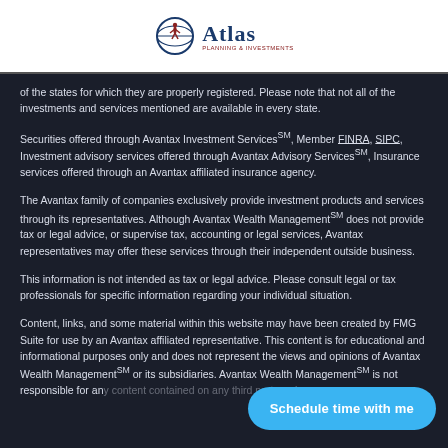[Figure (logo): Atlas planning and investments logo with globe icon]
of the states for which they are properly registered. Please note that not all of the investments and services mentioned are available in every state.
Securities offered through Avantax Investment ServicesSM, Member FINRA, SIPC, Investment advisory services offered through Avantax Advisory ServicesSM, Insurance services offered through an Avantax affiliated insurance agency.
The Avantax family of companies exclusively provide investment products and services through its representatives. Although Avantax Wealth ManagementSM does not provide tax or legal advice, or supervise tax, accounting or legal services, Avantax representatives may offer these services through their independent outside business.
This information is not intended as tax or legal advice. Please consult legal or tax professionals for specific information regarding your individual situation.
Content, links, and some material within this website may have been created by FMG Suite for use by an Avantax affiliated representative. This content is for educational and informational purposes only and does not represent the views and opinions of Avantax Wealth ManagementSM or its subsidiaries. Avantax Wealth ManagementSM is not responsible for and does not control, adopt, or endorse any content contained on any third party webs...
Schedule time with me